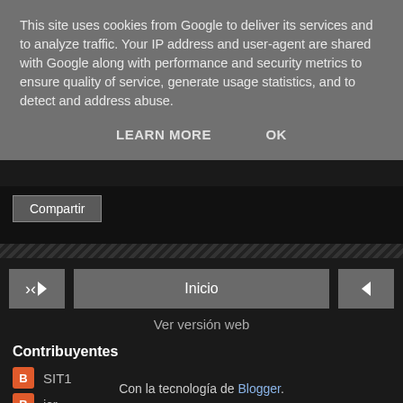This site uses cookies from Google to deliver its services and to analyze traffic. Your IP address and user-agent are shared with Google along with performance and security metrics to ensure quality of service, generate usage statistics, and to detect and address abuse.
LEARN MORE   OK
Compartir
‹   Inicio   ›
Ver versión web
Contribuyentes
SIT1
jcr
Con la tecnología de Blogger.